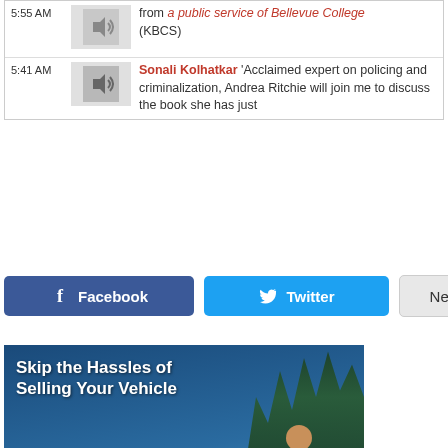5:55 AM — from a public service of Bellevue College (KBCS)
5:41 AM — Sonali Kolhatkar 'Acclaimed expert on policing and criminalization, Andrea Ritchie will join me to discuss the book she has just
[Figure (screenshot): Facebook, Twitter, and Newsletter social sharing buttons]
[Figure (photo): Advertisement: 'Skip the Hassles of Selling Your Vehicle — Donate it to KBCS instead!' showing a tow truck flatbed with a blue car and a smiling man holding car keys]